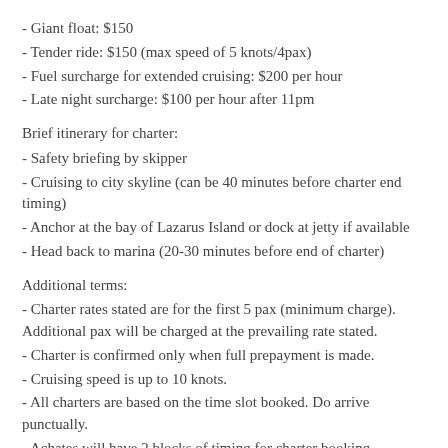- Giant float: $150
- Tender ride: $150 (max speed of 5 knots/4pax)
- Fuel surcharge for extended cruising: $200 per hour
- Late night surcharge: $100 per hour after 11pm
Brief itinerary for charter:
- Safety briefing by skipper
- Cruising to city skyline (can be 40 minutes before charter end timing)
- Anchor at the bay of Lazarus Island or dock at jetty if available
- Head back to marina (20-30 minutes before end of charter)
Additional terms:
- Charter rates stated are for the first 5 pax (minimum charge). Additional pax will be charged at the prevailing rate stated.
- Charter is confirmed only when full prepayment is made.
- Cruising speed is up to 10 knots.
- All charters are based on the time slot booked. Do arrive punctually.
- Achates will have 2 blocks of timing for charter booking. Morning block will be between 9am to 4pm and afternoon